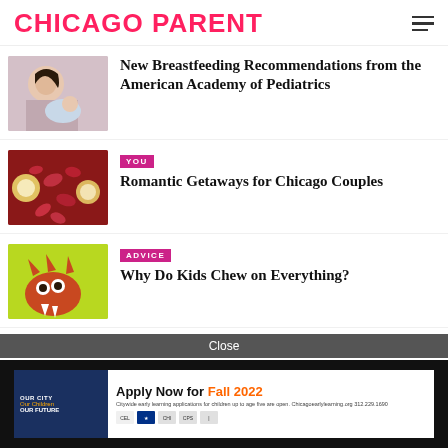CHICAGO PARENT
New Breastfeeding Recommendations from the American Academy of Pediatrics
YOU
Romantic Getaways for Chicago Couples
ADVICE
Why Do Kids Chew on Everything?
Close
[Figure (infographic): Chicago Early Learning advertisement: Apply Now for Fall 2022. Citywide early learning applications for children up to age five are open. Chicagoearlylearning.org 312.229.1690]